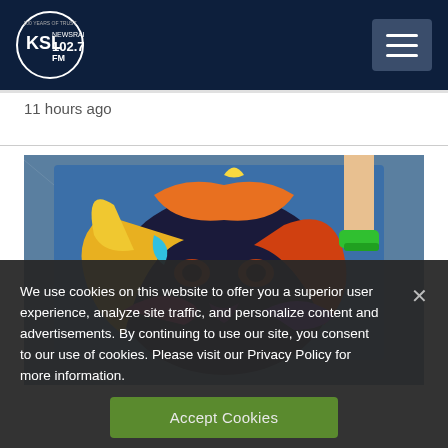KSL NewsRadio 102.7 FM
11 hours ago
[Figure (photo): Aerial view of a colorful chalk art painting of a lion's face on a blue ground surface, with a person's legs in green sneakers visible in the upper right corner.]
We use cookies on this website to offer you a superior user experience, analyze site traffic, and personalize content and advertisements. By continuing to use our site, you consent to our use of cookies. Please visit our Privacy Policy for more information.
Accept Cookies